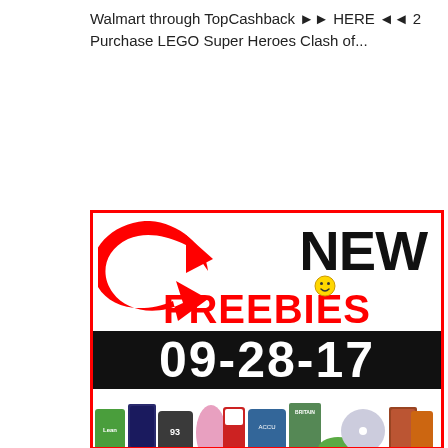Walmart through TopCashback ►► HERE ◄◄ 2 Purchase LEGO Super Heroes Clash of...
[Figure (infographic): Advertisement for Freebie-Depot.com showing NEW FREEBIES 09-28-17 with red arrow logo, product images, and text FREEBIE-DEPOT.COM FREE STUFF DAILY]